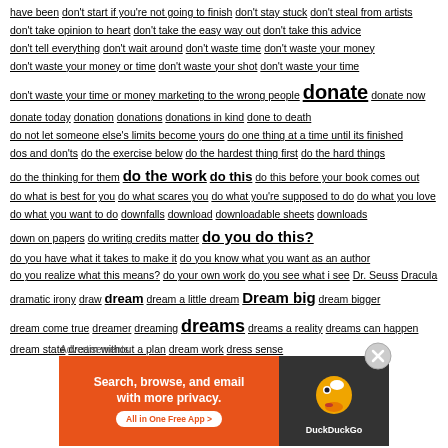have been don't start if you're not going to finish don't stay stuck don't steal from artists don't take opinion to heart don't take the easy way out don't take this advice don't tell everything don't wait around don't waste time don't waste your money don't waste your money or time don't waste your shot don't waste your time don't waste your time or money marketing to the wrong people donate donate now donate today donation donations donations in kind done to death do not let someone else's limits become yours do one thing at a time until its finished dos and don'ts do the exercise below do the hardest thing first do the hard things do the thinking for them do the work do this do this before your book comes out do what is best for you do what scares you do what you're supposed to do do what you love do what you want to do downfalls download downloadable sheets downloads down on papers do writing credits matter do you do this? do you have what it takes to make it do you know what you want as an author do you realize what this means? do your own work do you see what i see Dr. Seuss Dracula dramatic irony draw dream dream a little dream Dream big dream bigger dream come true dreamer dreaming dreams dreams a reality dreams can happen dream state dream without a plan dream work dress sense
[Figure (screenshot): DuckDuckGo advertisement banner: orange background with text 'Search, browse, and email with more privacy.' and 'All in One Free App' button, alongside dark panel with DuckDuckGo duck logo and brand name.]